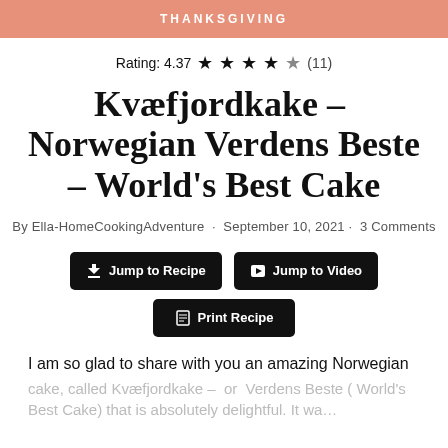THANKSGIVING
Rating: 4.37 ★★★★½ (11)
Kvæfjordkake – Norwegian Verdens Beste – World's Best Cake
By Ella-HomeCookingAdventure · September 10, 2021 · 3 Comments
Jump to Recipe
Jump to Video
Print Recipe
I am so glad to share with you an amazing Norwegian cake, called Kvæfjordkake – or Verdens Beste (World's Best Cake) that is absolutely delightful. It wa…